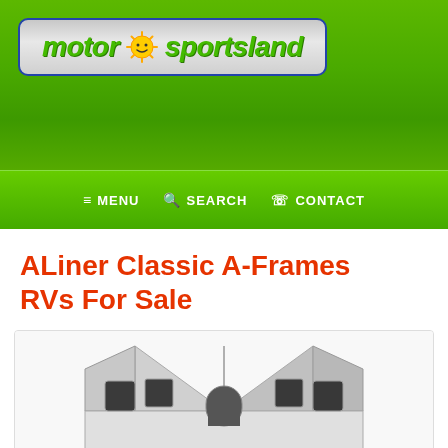[Figure (logo): Motor Sportsland logo - green text with sun icon on grey gradient background with blue border]
≡ MENU   🔍 SEARCH   📞 CONTACT
ALiner Classic A-Frames RVs For Sale
[Figure (photo): ALiner Classic A-Frame RV trailer with distinctive triangular/A-frame roof shape, silver aluminum exterior, dark windows, shown against white background]